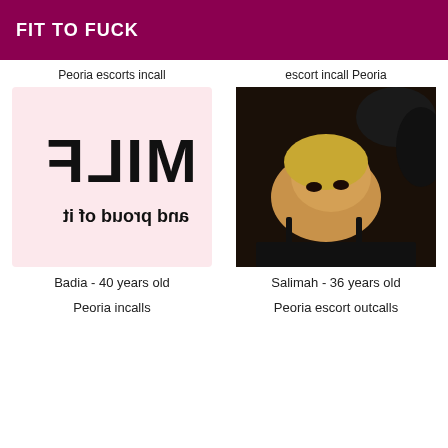FIT TO FUCK
Peoria escorts incall
[Figure (illustration): Mirrored/flipped image showing 'MILF and proud of it' text on pink background]
Badia - 40 years old
Peoria incalls
escort incall Peoria
[Figure (photo): Photo of a blonde woman lying down wearing black clothing]
Salimah - 36 years old
Peoria escort outcalls